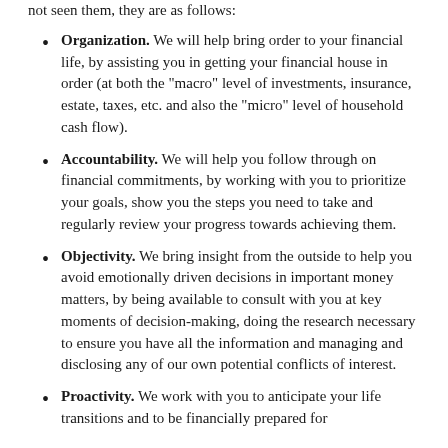not seen them, they are as follows:
Organization. We will help bring order to your financial life, by assisting you in getting your financial house in order (at both the "macro" level of investments, insurance, estate, taxes, etc. and also the "micro" level of household cash flow).
Accountability. We will help you follow through on financial commitments, by working with you to prioritize your goals, show you the steps you need to take and regularly review your progress towards achieving them.
Objectivity. We bring insight from the outside to help you avoid emotionally driven decisions in important money matters, by being available to consult with you at key moments of decision-making, doing the research necessary to ensure you have all the information and managing and disclosing any of our own potential conflicts of interest.
Proactivity. We work with you to anticipate your life transitions and to be financially prepared for